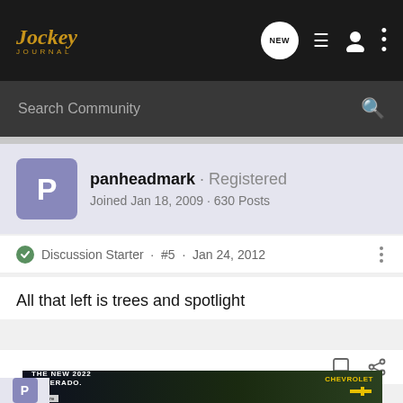Jockey Journal
Search Community
panheadmark · Registered
Joined Jan 18, 2009 · 630 Posts
Discussion Starter · #5 · Jan 24, 2012
All that left is trees and spotlight
[Figure (screenshot): Chevrolet ad banner: THE NEW 2022 SILVERADO. with Explore button and Chevrolet logo]